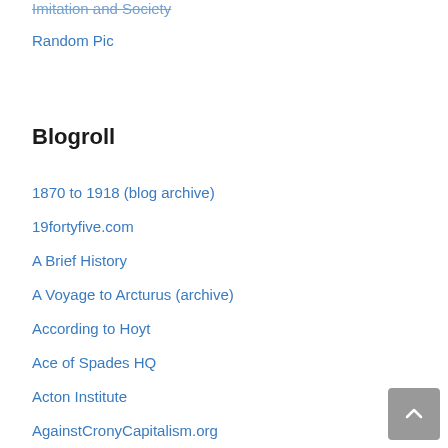Imitation and Society
Random Pic
Blogroll
1870 to 1918 (blog archive)
19fortyfive.com
A Brief History
A Voyage to Arcturus (archive)
According to Hoyt
Ace of Spades HQ
Acton Institute
AgainstCronyCapitalism.org